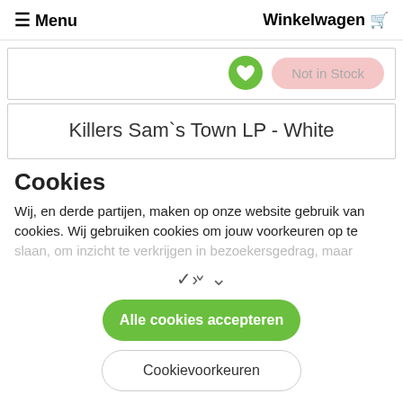☰ Menu   Winkelwagen 🛒
[Figure (screenshot): Product card showing a green heart/wishlist button and a pink 'Not in Stock' button]
Killers Sam`s Town LP - White
Cookies
Wij, en derde partijen, maken op onze website gebruik van cookies. Wij gebruiken cookies om jouw voorkeuren op te slaan, om inzicht te verkrijgen in bezoekersgedrag, maar
∨
Alle cookies accepteren
Cookievoorkeuren